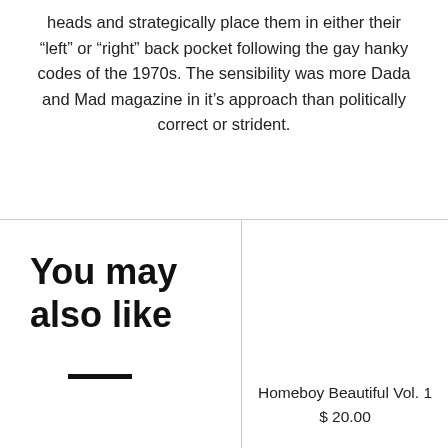heads and strategically place them in either their “left” or “right” back pocket following the gay hanky codes of the 1970s. The sensibility was more Dada and Mad magazine in it’s approach than politically correct or strident.
You may also like
—
Homeboy Beautiful Vol. 1
$ 20.00